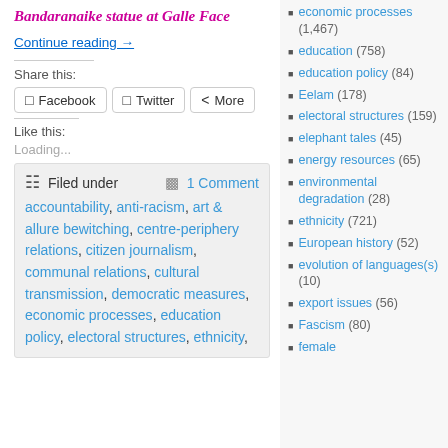Bandaranaike statue at Galle Face
Continue reading →
Share this:
Facebook   Twitter   More
Like this:
Loading...
Filed under   1 Comment   accountability, anti-racism, art & allure bewitching, centre-periphery relations, citizen journalism, communal relations, cultural transmission, democratic measures, economic processes, education policy, electoral structures, ethnicity,
economic processes (1,467)
education (758)
education policy (84)
Eelam (178)
electoral structures (159)
elephant tales (45)
energy resources (65)
environmental degradation (28)
ethnicity (721)
European history (52)
evolution of languages(s) (10)
export issues (56)
Fascism (80)
female